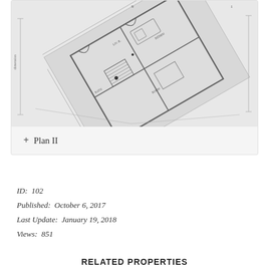[Figure (schematic): Architectural floor plan blueprint showing a tilted building layout with rooms, dimensions, staircase, and furniture placement annotations in black lines on light gray background.]
+ Plan II
ID:  102
Published:  October 6, 2017
Last Update:  January 19, 2018
Views:  851
RELATED PROPERTIES